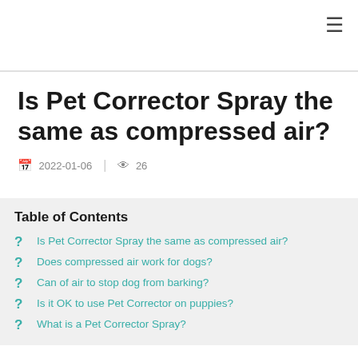≡
Is Pet Corrector Spray the same as compressed air?
2022-01-06  |  26
Table of Contents
Is Pet Corrector Spray the same as compressed air?
Does compressed air work for dogs?
Can of air to stop dog from barking?
Is it OK to use Pet Corrector on puppies?
What is a Pet Corrector Spray?